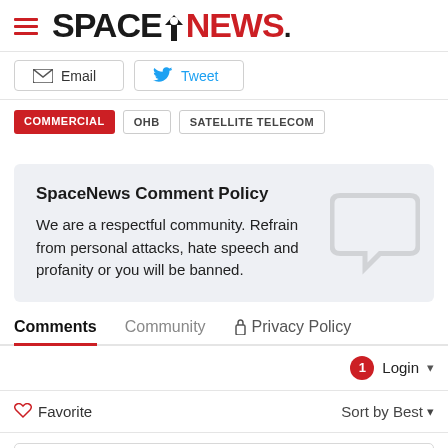SPACENEWS
Email   Tweet
COMMERCIAL
OHB
SATELLITE TELECOM
SpaceNews Comment Policy
We are a respectful community. Refrain from personal attacks, hate speech and profanity or you will be banned.
Comments   Community   Privacy Policy
Login
Favorite   Sort by Best
Start the discussion...